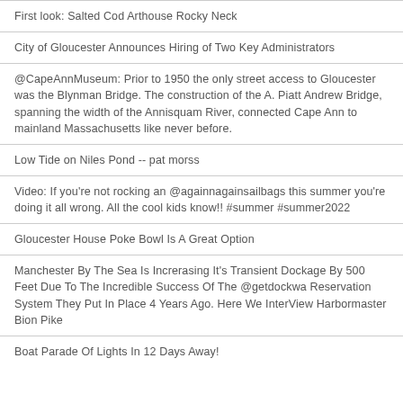First look: Salted Cod Arthouse Rocky Neck
City of Gloucester Announces Hiring of Two Key Administrators
@CapeAnnMuseum: Prior to 1950 the only street access to Gloucester was the Blynman Bridge. The construction of the A. Piatt Andrew Bridge, spanning the width of the Annisquam River, connected Cape Ann to mainland Massachusetts like never before.
Low Tide on Niles Pond -- pat morss
Video: If you're not rocking an @againnagainsailbags this summer you're doing it all wrong. All the cool kids know!! #summer #summer2022
Gloucester House Poke Bowl Is A Great Option
Manchester By The Sea Is Increrasing It's Transient Dockage By 500 Feet Due To The Incredible Success Of The @getdockwa Reservation System They Put In Place 4 Years Ago. Here We InterView Harbormaster Bion Pike
Boat Parade Of Lights In 12 Days Away!